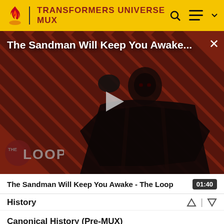TRANSFORMERS UNIVERSE MUX
[Figure (screenshot): Video thumbnail showing The Sandman character in black costume with a raven, against a dark red diagonal striped background. THE LOOP logo visible in bottom left. Play button in center.]
The Sandman Will Keep You Awake...
The Sandman Will Keep You Awake - The Loop  01:40
History
Canonical History (Pre-MUX)
MUX History  [Expand]